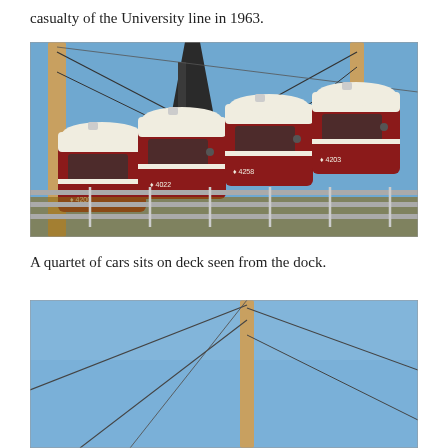casualty of the University line in 1963.
[Figure (photo): Four vintage red and white streetcars/trams stacked on the deck of a ship, seen from the dock. The cars are numbered 4200, 4022, 4258, and 4203. Ship masts and rigging are visible in the background against a blue sky.]
A quartet of cars sits on deck seen from the dock.
[Figure (photo): Partial view of a ship deck with masts and rigging against a blue sky, bottom portion of page.]